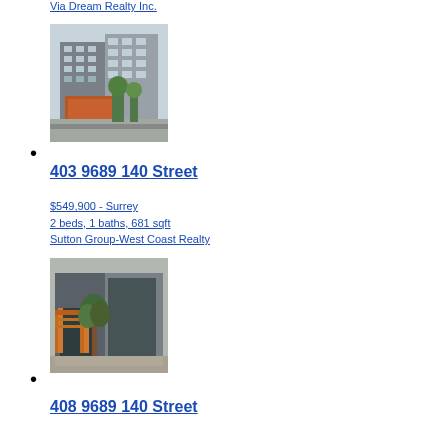Via Dream Realty Inc.
[Figure (photo): Exterior photo of a modern multi-story condominium building with grey concrete facade and orange accent canopy at the entrance]
403 9689 140 Street
$549,900 - Surrey
2 beds, 1 baths, 681 sqft
Sutton Group-West Coast Realty
[Figure (photo): Close-up exterior photo of building entrance with orange wooden pergola/canopy structure and modern grey walls with trees]
408 9689 140 Street